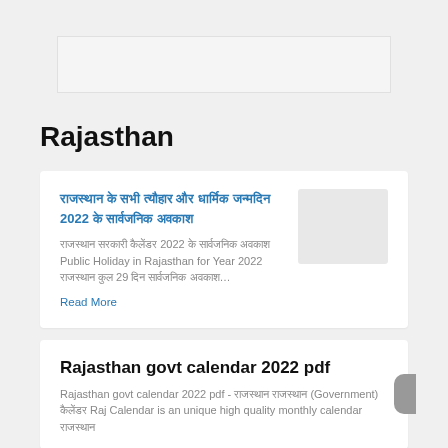[Figure (other): Advertisement banner placeholder]
Rajasthan
राजस्थान के सभी त्यौहार और धार्मिक जन्मदिन 2022 के सार्वजनिक अवकाश
राजस्थान सरकारी कैलेंडर 2022 के सार्वजनिक अवकाश Public Holiday in Rajasthan for Year 2022 राजस्थान कुल 29 दिन सार्वजनिक अवकाश…
Read More
Rajasthan govt calendar 2022 pdf
Rajasthan govt calendar 2022 pdf - राजस्थान राजस्थान (Government) कैलेंडर Raj Calendar is an unique high quality monthly calendar राजस्थान